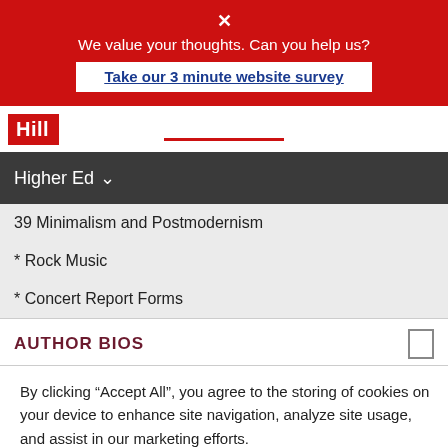[Figure (screenshot): Red survey banner with close X, text 'We value your thoughts. Can you help us?' and a white button linking to 'Take our 3 minute website survey']
[Figure (logo): Hill publisher logo in red box, with a red underline below in the center of the bar]
Higher Ed
39 Minimalism and Postmodernism
* Rock Music
* Concert Report Forms
AUTHOR BIOS
By clicking “Accept All”, you agree to the storing of cookies on your device to enhance site navigation, analyze site usage, and assist in our marketing efforts.
Accept and Close ×
Your browser settings do not allow cross-site tracking for advertising. Click on this page to allow AdRoll to use cross-site tracking to tailor ads to you. Learn more or opt out of this AdRoll tracking by clicking here. This message only appears once.